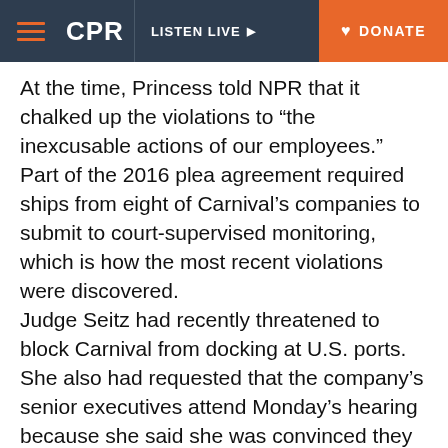CPR | LISTEN LIVE | DONATE
At the time, Princess told NPR that it chalked up the violations to “the inexcusable actions of our employees.”
Part of the 2016 plea agreement required ships from eight of Carnival’s companies to submit to court-supervised monitoring, which is how the most recent violations were discovered.
Judge Seitz had recently threatened to block Carnival from docking at U.S. ports. She also had requested that the company’s senior executives attend Monday’s hearing because she said she was convinced they weren’t serious about complying with environmental laws.